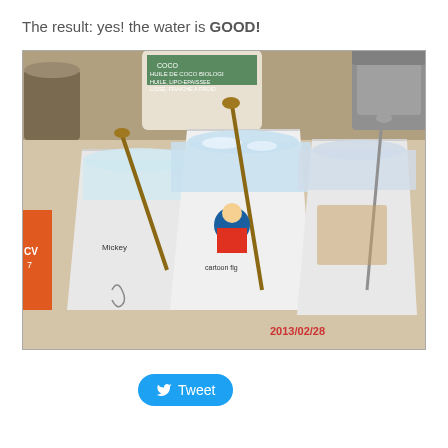The result: yes!  the water is GOOD!
[Figure (photo): Three plastic cups with water on a kitchen counter, each with a spoon. Various items visible in background including containers on a countertop. Date stamp reads 2013/02/28.]
Tweet